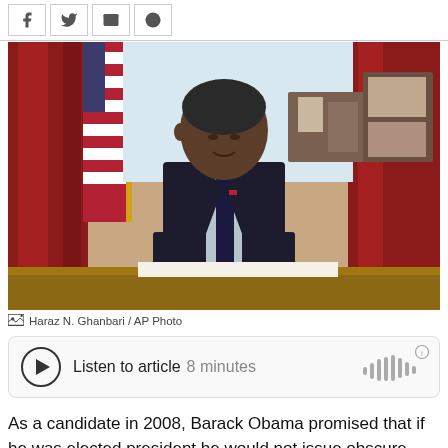Share bar with social icons: Facebook, Twitter, Email, Reddit
[Figure (photo): Barack Obama sitting at a desk in the Oval Office, wearing a dark suit and tie, signing a document with a pen. An American flag is visible in the background along with red curtains and a leather chair.]
Haraz N. Ghanbari / AP Photo
Listen to article  8 minutes
As a candidate in 2008, Barack Obama promised that if he was elected president he would not issue obscure